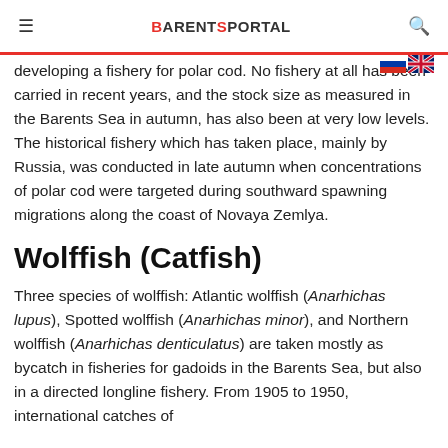BARENTSPORTAL
developing a fishery for polar cod. No fishery at all has been carried in recent years, and the stock size as measured in the Barents Sea in autumn, has also been at very low levels. The historical fishery which has taken place, mainly by Russia, was conducted in late autumn when concentrations of polar cod were targeted during southward spawning migrations along the coast of Novaya Zemlya.
Wolffish (Catfish)
Three species of wolffish: Atlantic wolffish (Anarhichas lupus), Spotted wolffish (Anarhichas minor), and Northern wolffish (Anarhichas denticulatus) are taken mostly as bycatch in fisheries for gadoids in the Barents Sea, but also in a directed longline fishery. From 1905 to 1950, international catches of